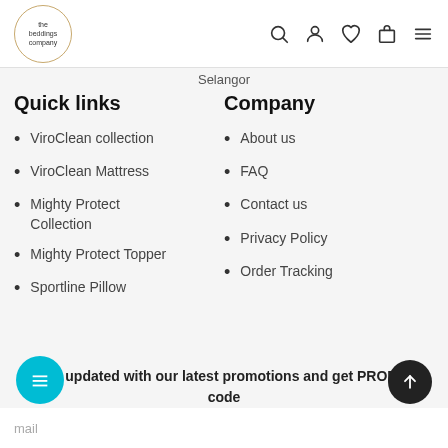the beddings company
Selangor
Quick links
ViroClean collection
ViroClean Mattress
Mighty Protect Collection
Mighty Protect Topper
Sportline Pillow
Company
About us
FAQ
Contact us
Privacy Policy
Order Tracking
Get updated with our latest promotions and get PROMO code
mail